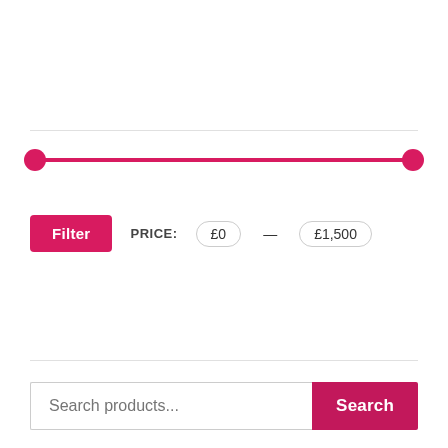[Figure (other): Price range slider with two pink circle handles at each end of a horizontal pink track, spanning full width]
Filter   PRICE: £0 — £1,500
[Figure (other): Search products text input field with a pink Search button on the right]
RETAKE EXAM  $4.99  $1.99
RETAKE EXAM  $4.99  $1.99